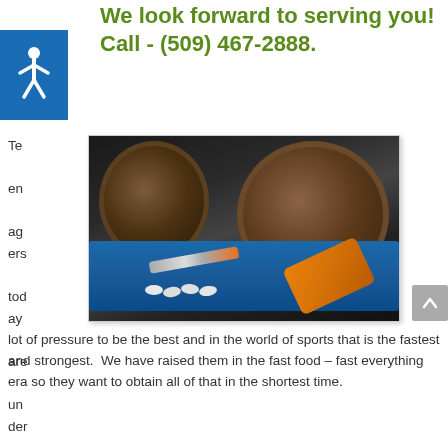We look forward to serving you! Call - (509) 467-2888.
[Figure (photo): Photo of gym weights, a syringe, an orange pill bottle, and white pills on a blue towel — illustrating steroid/drug use in sports]
Teenagers today are under a lot of pressure to be the best and in the world of sports that is the fastest and strongest.  We have raised them in the fast food – fast everything era so they want to obtain all of that in the shortest time.